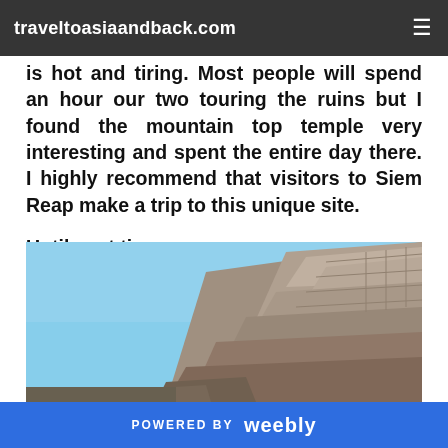traveltoasiaandback.com
is hot and tiring. Most people will spend an hour our two touring the ruins but I found the mountain top temple very interesting and spent the entire day there. I highly recommend that visitors to Siem Reap make a trip to this unique site.
Until next time,
Mike Pollock
[Figure (photo): Photograph of ancient stone temple ruins with blue sky background, appears to be an Angkor-era temple in Cambodia]
POWERED BY weebly